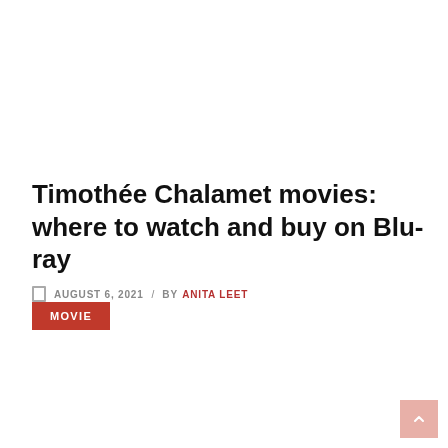Timothée Chalamet movies: where to watch and buy on Blu-ray
AUGUST 6, 2021 / BY ANITA LEET
MOVIE